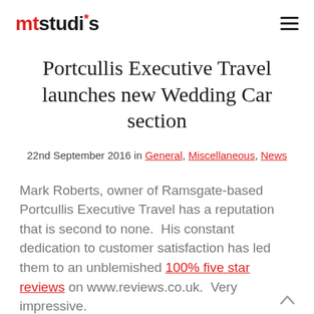mtstudios [logo] [hamburger menu]
Portcullis Executive Travel launches new Wedding Car section
22nd September 2016 in General, Miscellaneous, News
Mark Roberts, owner of Ramsgate-based Portcullis Executive Travel has a reputation that is second to none.  His constant dedication to customer satisfaction has led them to an unblemished 100% five star reviews on www.reviews.co.uk.  Very impressive.